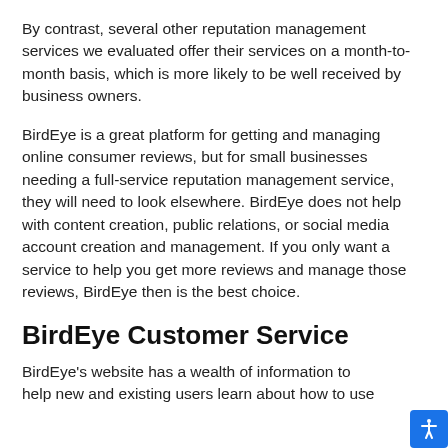By contrast, several other reputation management services we evaluated offer their services on a month-to-month basis, which is more likely to be well received by business owners.
BirdEye is a great platform for getting and managing online consumer reviews, but for small businesses needing a full-service reputation management service, they will need to look elsewhere. BirdEye does not help with content creation, public relations, or social media account creation and management. If you only want a service to help you get more reviews and manage those reviews, BirdEye then is the best choice.
BirdEye Customer Service
BirdEye's website has a wealth of information to help new and existing users learn about how to use